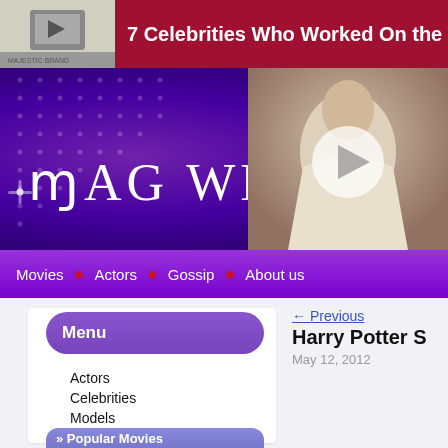7 Celebrities Who Worked On the Truck
[Figure (screenshot): MAG WEB website logo on purple starry background with diamond lettering]
[Figure (photo): Celebrity photo with video play button overlay]
Movies • Actors • Gossip • About us
Menu
← Previous
Harry Potter S
May 12, 2012
Actors
Celebrities
Models
Musicians
News
Top Lists
Uncategorized
» Popular Movies